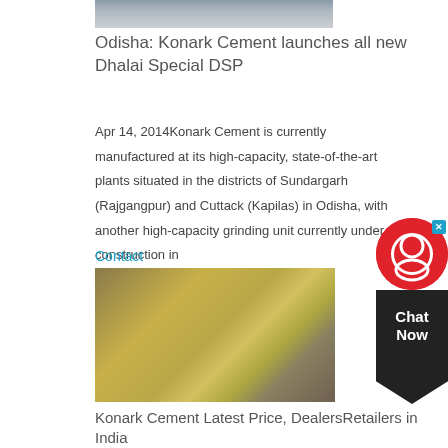[Figure (photo): Top partial image of a cement plant or industrial facility]
Odisha: Konark Cement launches all new Dhalai Special DSP
Apr 14, 2014Konark Cement is currently manufactured at its high-capacity, state-of-the-art plants situated in the districts of Sundargarh (Rajgangpur) and Cuttack (Kapilas) in Odisha, with another high-capacity grinding unit currently under construction in
[Figure (screenshot): Chat Now widget with red circle icon and dark chevron bottom]
Contact
[Figure (photo): Industrial cement plant machinery with yellow equipment and conveyor structures]
Konark Cement Latest Price, DealersRetailers in India